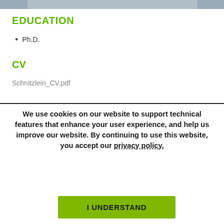[Figure (photo): Partial photo of a person in a suit, cropped at top of page]
EDUCATION
Ph.D.
CV
Schnitzlein_CV.pdf
We use cookies on our website to support technical features that enhance your user experience, and help us improve our website. By continuing to use this website, you accept our privacy policy.
I UNDERSTAND